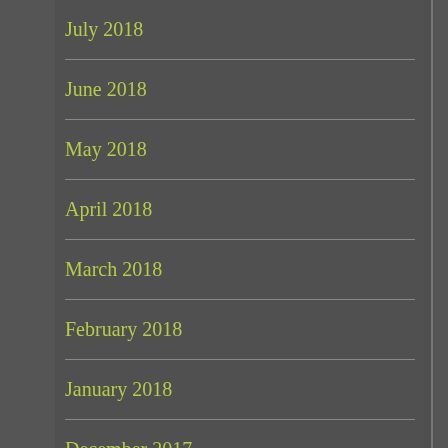July 2018
June 2018
May 2018
April 2018
March 2018
February 2018
January 2018
December 2017
November 2017
October 2017
September 2017